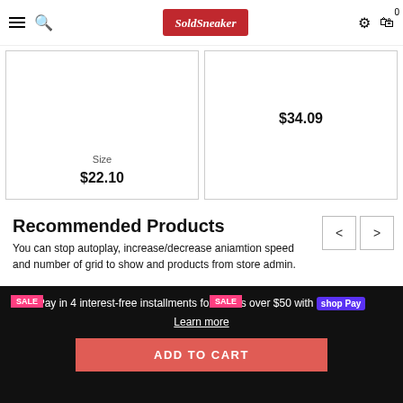SoldSneaker — navigation header with hamburger, search, logo, settings, cart (0)
Size
$22.10
$34.09
Recommended Products
You can stop autoplay, increase/decrease aniamtion speed and number of grid to show and products from store admin.
[Figure (photo): Knit beanie hat viewed from above on dark background, with SALE badge]
[Figure (photo): Light-colored knit/lace beanie hat viewed from above, with SALE badge]
Pay in 4 interest-free installments for orders over $50 with shop Pay
Learn more
ADD TO CART